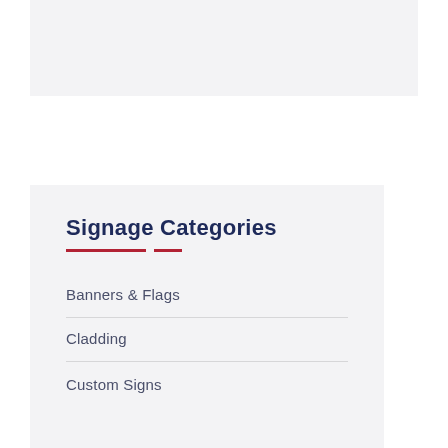[Figure (other): Light gray rectangular image placeholder area at the top of the page]
Signage Categories
Banners & Flags
Cladding
Custom Signs